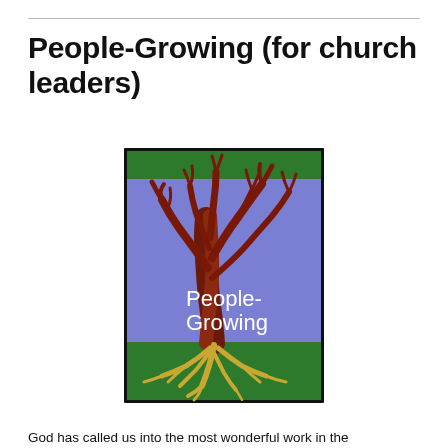People-Growing (for church leaders)
[Figure (illustration): Book or publication cover illustration showing a bare tree with dark red branches against a purple/blue background, with roots visible below in a green earth section. Text 'People-Growing' appears in white over the tree. The image has a dark border with green bands at top and bottom.]
God has called us into the most wonderful work in the